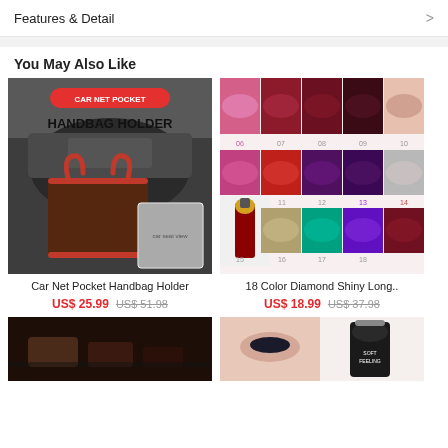Features & Detail
You May Also Like
[Figure (photo): Car Net Pocket Handbag Holder product photo showing a handbag hanging from a car seat net pocket]
Car Net Pocket Handbag Holder
US$ 25.99  US$ 51.98
[Figure (photo): 18 Color Diamond Shiny Long-lasting lip gloss product showing multiple lip swatches numbered 06-18 and a lipstick product image]
18 Color Diamond Shiny Long..
US$ 18.99  US$ 37.98
[Figure (photo): Partial product image at bottom left - dark background with shoes]
[Figure (photo): Partial product image at bottom right - makeup foundation/blush product with woman's face]